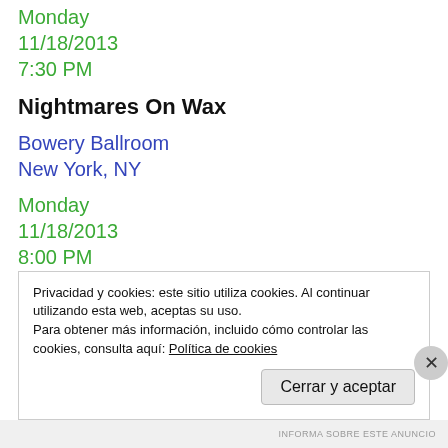Monday
11/18/2013
7:30 PM
Nightmares On Wax
Bowery Ballroom
New York, NY
Monday
11/18/2013
8:00 PM
Privacidad y cookies: este sitio utiliza cookies. Al continuar utilizando esta web, aceptas su uso.
Para obtener más información, incluido cómo controlar las cookies, consulta aquí: Política de cookies
INFORMA SOBRE ESTE ANUNCIO